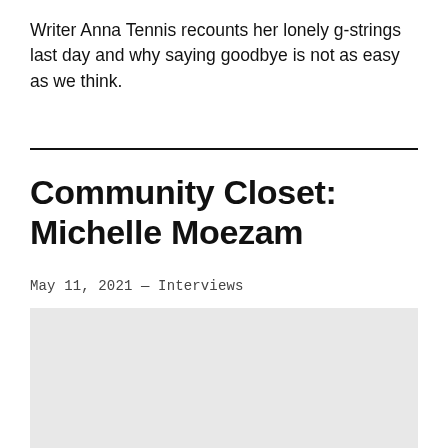Writer Anna Tennis recounts her lonely g-strings last day and why saying goodbye is not as easy as we think.
Community Closet: Michelle Moezam
May 11, 2021 — Interviews
[Figure (photo): Gray placeholder image block]